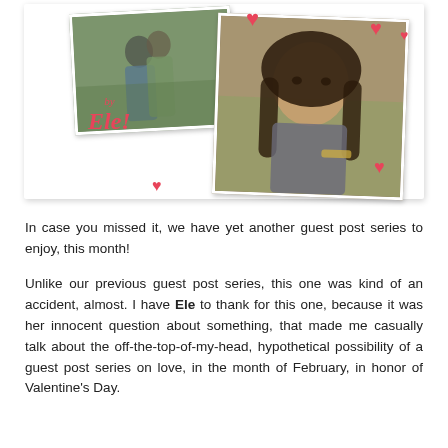[Figure (photo): A decorative collage on a white card background featuring two photos: one of a couple hugging outdoors, another of a man with long dark hair looking intensely at camera. Decorated with red heart icons and a cursive script reading 'by Ele!']
In case you missed it, we have yet another guest post series to enjoy, this month!
Unlike our previous guest post series, this one was kind of an accident, almost. I have Ele to thank for this one, because it was her innocent question about something, that made me casually talk about the off-the-top-of-my-head, hypothetical possibility of a guest post series on love, in the month of February, in honor of Valentine's Day.